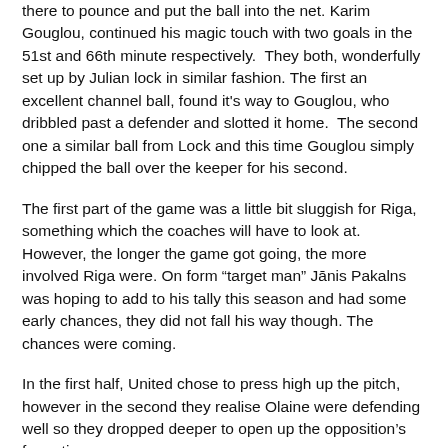there to pounce and put the ball into the net. Karim Gouglou, continued his magic touch with two goals in the 51st and 66th minute respectively.  They both, wonderfully set up by Julian lock in similar fashion. The first an excellent channel ball, found it's way to Gouglou, who dribbled past a defender and slotted it home.  The second one a similar ball from Lock and this time Gouglou simply chipped the ball over the keeper for his second.
The first part of the game was a little bit sluggish for Riga, something which the coaches will have to look at.  However, the longer the game got going, the more involved Riga were. On form “target man” Jānis Pakalns was hoping to add to his tally this season and had some early chances, they did not fall his way though. The chances were coming.
In the first half, United chose to press high up the pitch, however in the second they realise Olaine were defending well so they dropped deeper to open up the opposition’s formation.